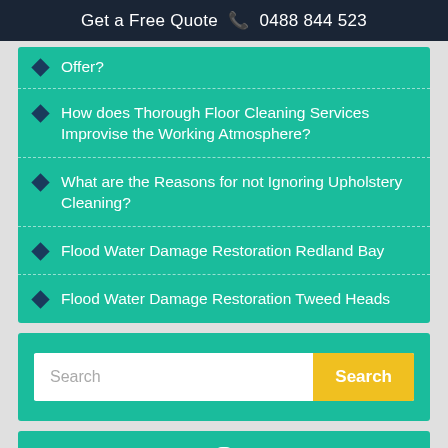Get a Free Quote 📞 0488 844 523
Offer?
How does Thorough Floor Cleaning Services Improvise the Working Atmosphere?
What are the Reasons for not Ignoring Upholstery Cleaning?
Flood Water Damage Restoration Redland Bay
Flood Water Damage Restoration Tweed Heads
Search
Areas of Coverage